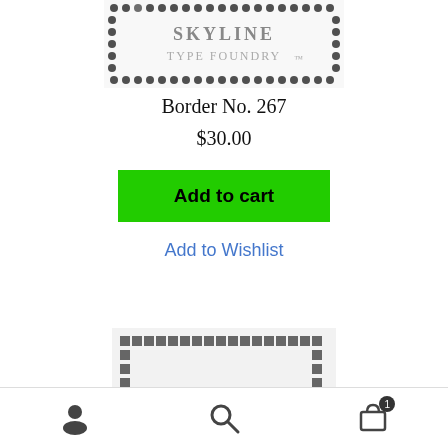[Figure (illustration): Skyline Type Foundry decorative border no. 267 preview image with ornate dotted/floral pattern border framing the foundry name]
Border No. 267
$30.00
Add to cart
Add to Wishlist
[Figure (illustration): Partial preview of Border No. 373 showing square/rectangular tile border pattern in dark gray]
User icon | Search icon | Cart icon with badge 1